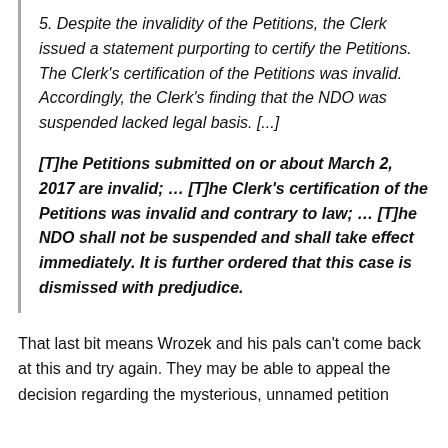5. Despite the invalidity of the Petitions, the Clerk issued a statement purporting to certify the Petitions. The Clerk's certification of the Petitions was invalid. Accordingly, the Clerk's finding that the NDO was suspended lacked legal basis. [...]
[T]he Petitions submitted on or about March 2, 2017 are invalid; ... [T]he Clerk's certification of the Petitions was invalid and contrary to law; ... [T]he NDO shall not be suspended and shall take effect immediately. It is further ordered that this case is dismissed with predjudice.
That last bit means Wrozek and his pals can't come back at this and try again. They may be able to appeal the decision regarding the mysterious, unnamed petition